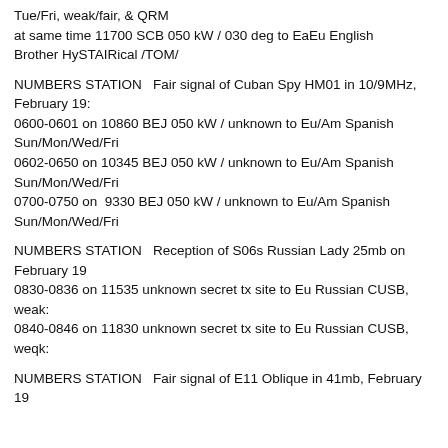Tue/Fri, weak/fair, & QRM
at same time 11700 SCB 050 kW / 030 deg to EaEu English
Brother HySTAIRical /TOM/
NUMBERS STATION   Fair signal of Cuban Spy HM01 in 10/9MHz, February 19:
0600-0601 on 10860 BEJ 050 kW / unknown to Eu/Am Spanish Sun/Mon/Wed/Fri
0602-0650 on 10345 BEJ 050 kW / unknown to Eu/Am Spanish Sun/Mon/Wed/Fri
0700-0750 on  9330 BEJ 050 kW / unknown to Eu/Am Spanish Sun/Mon/Wed/Fri
NUMBERS STATION   Reception of S06s Russian Lady 25mb on February 19
0830-0836 on 11535 unknown secret tx site to Eu Russian CUSB, weak:
0840-0846 on 11830 unknown secret tx site to Eu Russian CUSB, weqk:
NUMBERS STATION   Fair signal of E11 Oblique in 41mb, February 19